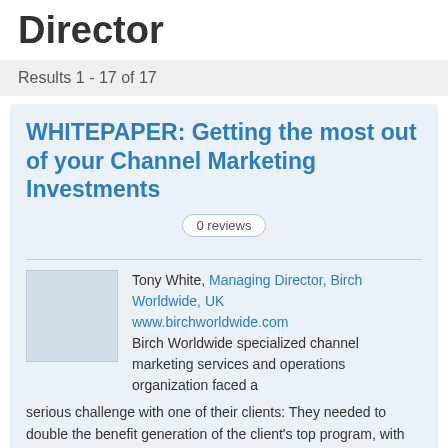Director
Results 1 - 17 of 17
WHITEPAPER: Getting the most out of your Channel Marketing Investments
0 reviews
Tony White, Managing Director, Birch Worldwide, UK
www.birchworldwide.com
Birch Worldwide specialized channel marketing services and operations organization faced a serious challenge with one of their clients: They needed to double the benefit generation of the client's top program, with evidence to back up those results, on a ...